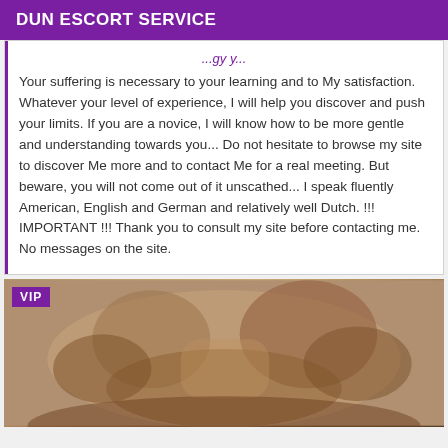DUN ESCORT SERVICE
Your suffering is necessary to your learning and to My satisfaction. Whatever your level of experience, I will help you discover and push your limits. If you are a novice, I will know how to be more gentle and understanding towards you... Do not hesitate to browse my site to discover Me more and to contact Me for a real meeting. But beware, you will not come out of it unscathed... I speak fluently American, English and German and relatively well Dutch. !!! IMPORTANT !!! Thank you to consult my site before contacting me. No messages on the site.
[Figure (photo): A close-up photo of a person's torso with hands, tagged as VIP listing]